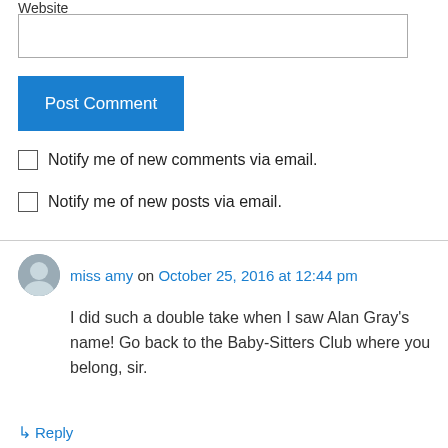Website
Post Comment
Notify me of new comments via email.
Notify me of new posts via email.
miss amy on October 25, 2016 at 12:44 pm
I did such a double take when I saw Alan Gray's name! Go back to the Baby-Sitters Club where you belong, sir.
Reply